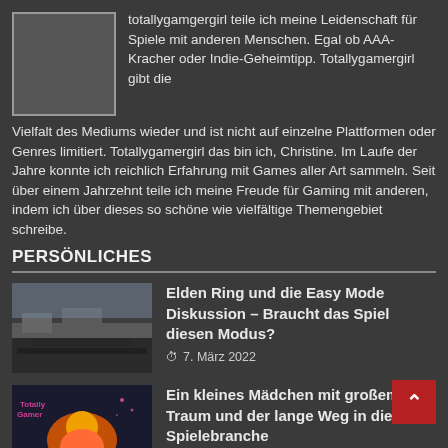[Figure (photo): Small avatar/profile image placeholder box with gray border]
totallygamgergirl teile ich meine Leidenschaft für Spiele mit anderen Menschen. Egal ob AAA-Kracher oder Indie-Geheimtipp. Totallygamergirl gibt die Vielfalt des Mediums wieder und ist nicht auf einzelne Plattformen oder Genres limitiert. Totallygamergirl das bin ich, Christine. Im Laufe der Jahre konnte ich reichlich Erfahrung mit Games aller Art sammeln. Seit über einem Jahrzehnt teile ich meine Freude für Gaming mit anderen, indem ich über dieses so schöne wie vielfältige Themengebiet schreibe.
PERSÖNLICHES
[Figure (photo): Thumbnail image for Elden Ring article, showing dark stone/rock textures]
Elden Ring und die Easy Mode Diskussion – Braucht das Spiel diesen Modus?
7. März 2022
[Figure (photo): Thumbnail image showing colorful game character with Totallygamergirl logo text]
Ein kleines Mädchen mit großem Traum und der lange Weg in die Spielebranche
7. März 2021